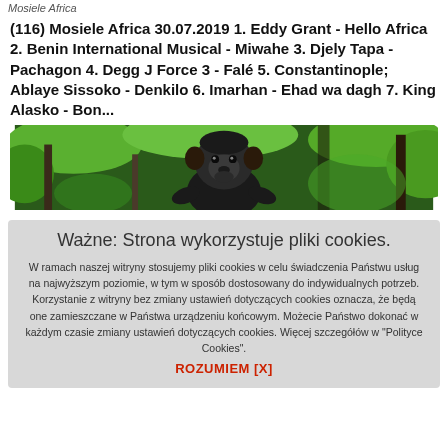Mosiele Africa
(116) Mosiele Africa 30.07.2019 1. Eddy Grant - Hello Africa 2. Benin International Musical - Miwahe 3. Djely Tapa - Pachagon 4. Degg J Force 3 - Falé 5. Constantinople; Ablaye Sissoko - Denkilo 6. Imarhan - Ehad wa dagh 7. King Alasko - Bon...
[Figure (photo): A baboon or mandrill photographed in a green forest setting, facing the camera, with dark fur and a prominent face, surrounded by trees and green foliage.]
Ważne: Strona wykorzystuje pliki cookies.
W ramach naszej witryny stosujemy pliki cookies w celu świadczenia Państwu usług na najwyższym poziomie, w tym w sposób dostosowany do indywidualnych potrzeb. Korzystanie z witryny bez zmiany ustawień dotyczących cookies oznacza, że będą one zamieszczane w Państwa urządzeniu końcowym. Możecie Państwo dokonać w każdym czasie zmiany ustawień dotyczących cookies. Więcej szczegółów w "Polityce Cookies".
ROZUMIEM [X]